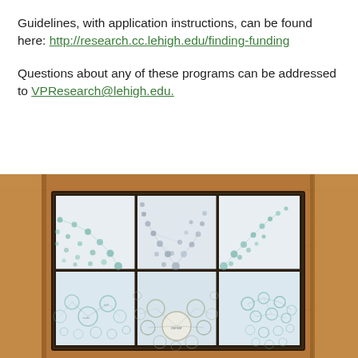Guidelines, with application instructions, can be found here: http://research.cc.lehigh.edu/finding-funding

Questions about any of these programs can be addressed to VPResearch@lehigh.edu.
[Figure (photo): A large video wall display mounted on a wooden wall, showing a network/graph visualization split across 6 panels (2 rows x 3 columns). The visualization shows nodes and connections forming a semicircular/arc pattern in teal/green and gray tones.]